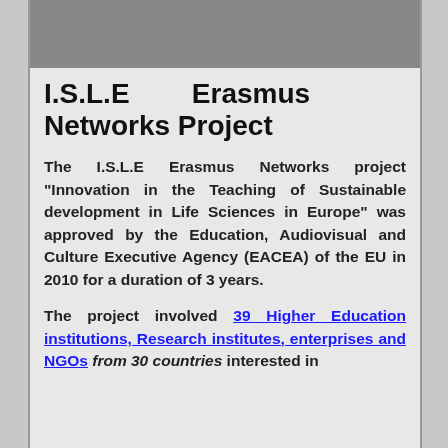[Figure (photo): Gray/dark photo area at top of page]
I.S.L.E  Erasmus Networks Project
The I.S.L.E Erasmus Networks project “Innovation in the Teaching of Sustainable development in Life Sciences in Europe” was approved by the Education, Audiovisual and Culture Executive Agency (EACEA) of the EU in 2010 for a duration of 3 years.
The project involved 39 Higher Education institutions, Research institutes, enterprises and NGOs from 30 countries interested in